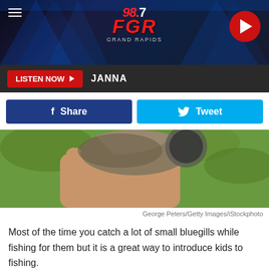[Figure (screenshot): 98.7 FGR Grand Rapids radio station header banner with blue lighting effects, hamburger menu icon, logo, and play button]
LISTEN NOW  JANNA
[Figure (other): Social sharing buttons: Facebook Share button (blue) and Twitter Tweet button (cyan)]
[Figure (photo): A hand holding a bluegill fish outdoors with green background]
George Peters/Getty Images/iStockphoto
Most of the time you catch a lot of small bluegills while fishing for them but it is a great way to introduce kids to fishing.
Bluegills can get all the way up to 12 inches long and weigh as much as 4.5 pounds. If you know a place that has them regularly that size, please let me know where it is.